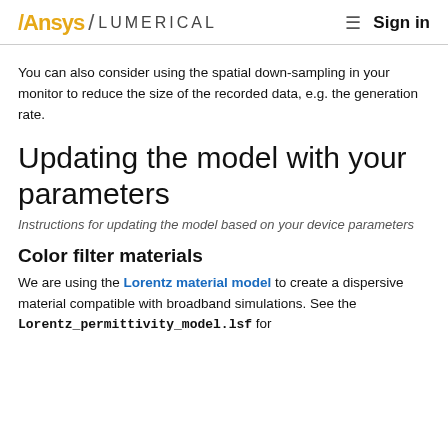Ansys / LUMERICAL   Sign in
You can also consider using the spatial down-sampling in your monitor to reduce the size of the recorded data, e.g. the generation rate.
Updating the model with your parameters
Instructions for updating the model based on your device parameters
Color filter materials
We are using the Lorentz material model to create a dispersive material compatible with broadband simulations. See the Lorentz_permittivity_model.lsf for details.